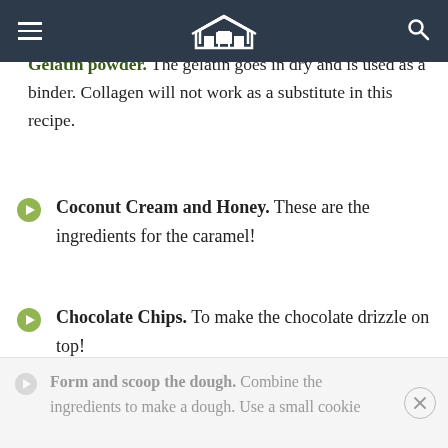[navigation header with menu, house logo, search]
Gelatin powder. The gelatin goes in dry and is used as a binder. Collagen will not work as a substitute in this recipe.
Coconut Cream and Honey. These are the ingredients for the caramel!
Chocolate Chips. To make the chocolate drizzle on top!
HOW TO MAKE THE GIRL SCOUTS ADVENTUREFULS COPYCAT
Form and scoop the dough. Combine the ingredients to make a dough. Use a small cookie